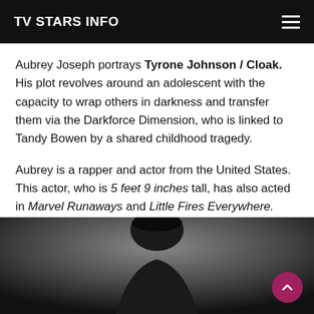TV STARS INFO
Aubrey Joseph portrays Tyrone Johnson / Cloak. His plot revolves around an adolescent with the capacity to wrap others in darkness and transfer them via the Darkforce Dimension, who is linked to Tandy Bowen by a shared childhood tragedy.
Aubrey is a rapper and actor from the United States. This actor, who is 5 feet 9 inches tall, has also acted in Marvel Runaways and Little Fires Everywhere.
[Figure (photo): Photo of Aubrey Joseph, a young man shown from shoulders up against a dark background]